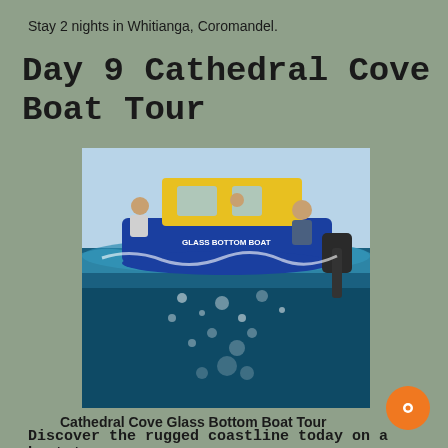Stay 2 nights in Whitianga, Coromandel.
Day 9 Cathedral Cove Boat Tour
[Figure (photo): Split underwater/above-water photo of a glass bottom boat on the ocean. Above the waterline shows the blue and yellow boat with people on board labeled 'GLASS BOTTOM BOAT'. Below the waterline shows clear blue ocean water with bubbles.]
Cathedral Cove Glass Bottom Boat Tour
Discover the rugged coastline today on a boat tour